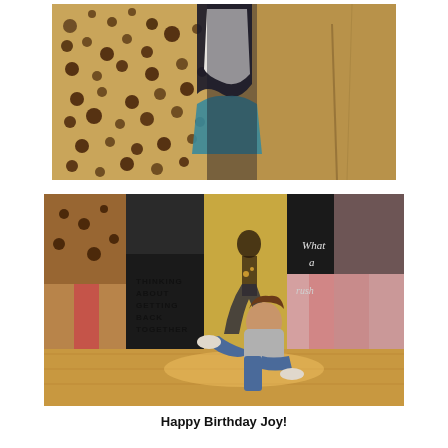[Figure (photo): Abstract painting with golden/brown textured background with dark circular spots on left side, and a figure in white top and blue/teal garment in center-right]
[Figure (photo): A woman with brown hair sits cross-legged on a wooden floor in front of several large paintings. She wears a grey sweatshirt and jeans with white sneakers. The paintings include abstract works with text 'Thinking About Getting Back Together' visible on one.]
Happy Birthday Joy!